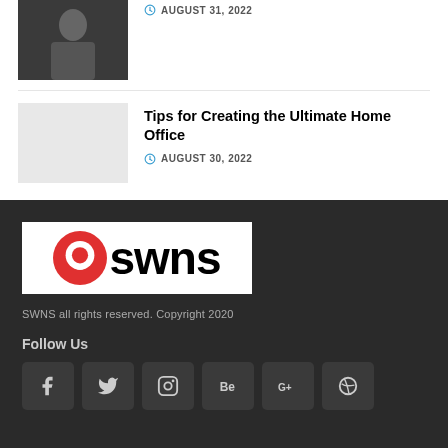[Figure (photo): Article thumbnail: person wearing dark clothing]
AUGUST 31, 2022
Tips for Creating the Ultimate Home Office
AUGUST 30, 2022
[Figure (logo): SWNS logo — red circular chat icon with 'swns' in bold black text on white background]
SWNS all rights reserved. Copyright 2020
Follow Us
[Figure (infographic): Social media icons row: Facebook, Twitter, Instagram, Behance, Google+, Dribbble]